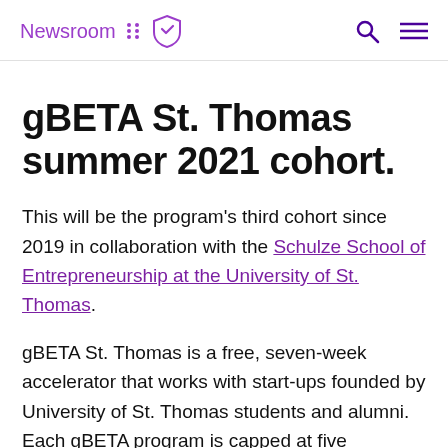Newsroom
gBETA St. Thomas summer 2021 cohort.
This will be the program's third cohort since 2019 in collaboration with the Schulze School of Entrepreneurship at the University of St. Thomas.
gBETA St. Thomas is a free, seven-week accelerator that works with start-ups founded by University of St. Thomas students and alumni. Each gBETA program is capped at five